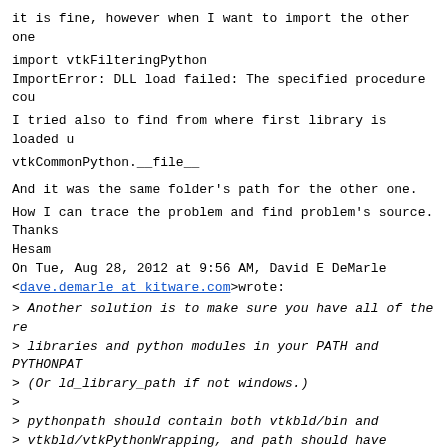it is fine, however when I want to import the other one
import vtkFilteringPython
ImportError: DLL load failed: The specified procedure cou
I tried also to find from where first library is loaded u
vtkCommonPython.__file__
And it was the same folder's path for the other one.
How I can trace the problem and find problem's source.
Thanks
Hesam
On Tue, Aug 28, 2012 at 9:56 AM, David E DeMarle
<dave.demarle at kitware.com>wrote:
> Another solution is to make sure you have all of the re
> libraries and python modules in your PATH and PYTHONPA
> (Or ld_library_path if not windows.)
>
> pythonpath should contain both vtkbld/bin and
> vtkbld/vtkPythonWrapping, and path should have vtkbld/b
>
> See http://paraview.org/Wiki/ParaView/Python_Scripting
> for more details.
>
> David E DeMarle
> Kitware, Inc.
> R&D Engineer